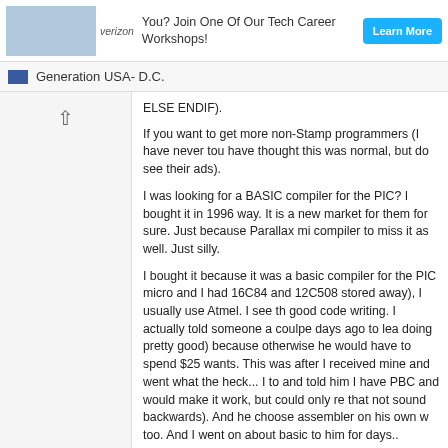verizon You? Join One Of Our Tech Career Workshops! Learn More
Generation USA- D.C.
ELSE ENDIF).
If you want to get more non-Stamp programmers (I have never touched one myself and would have thought this was normal, but do see their ads).
I was looking for a BASIC compiler for the PIC? I bought it in 1996 and came across it in a way. It is a new market for them for sure. Just because Parallax missed it does not mean the compiler to miss it as well. Just silly.
I bought it because it was a basic compiler for the PIC micro and I had PICs (actually had 16C84 and 12C508 stored away), I usually use Atmel. I see the logic in it for good code writing. I actually told someone a coulpe days ago to learn assembler (he is doing pretty good) because otherwise he would have to spend $250 on a tool he does not wants. This was after I received mine and went what the heck... I told him basics of it and told him I have PBC and would make it work, but could only recommend assembler (does that not sound backwards). And he choose assembler on his own with a little push from me too. And I went on about basic to him for days..
BTW, thanks for the history, I see why it is weird like that now. It is too bad they would have better product and be more like what BASIC programmers want, similar to what BASIC Stamp programmers use. I would use it a lot if it worked like what they know. Hahaha.
Last edited by mramos; - 2nd June 2006 at 01:28.